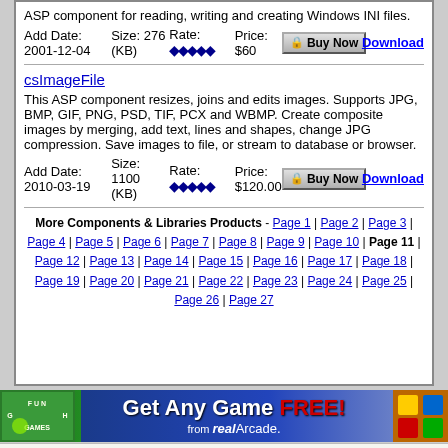ASP component for reading, writing and creating Windows INI files.
Add Date: 2001-12-04   Size: 276 (KB)   Rate: ◆◆◆◆◆   Price: $60   Buy Now   Download
csImageFile
This ASP component resizes, joins and edits images. Supports JPG, BMP, GIF, PNG, PSD, TIF, PCX and WBMP. Create composite images by merging, add text, lines and shapes, change JPG compression. Save images to file, or stream to database or browser.
Add Date: 2010-03-19   Size: 1100 (KB)   Rate: ◆◆◆◆◆   Price: $120.00   Buy Now   Download
More Components & Libraries Products - Page 1 | Page 2 | Page 3 | Page 4 | Page 5 | Page 6 | Page 7 | Page 8 | Page 9 | Page 10 | Page 11 | Page 12 | Page 13 | Page 14 | Page 15 | Page 16 | Page 17 | Page 18 | Page 19 | Page 20 | Page 21 | Page 22 | Page 23 | Page 24 | Page 25 | Page 26 | Page 27
[Figure (infographic): Ad banner: Get Any Game FREE! from RealArcade]
Copyright © 2000 - 2022 Shareup Networks. All rights reserved. | What's New | About | Privacy | Submit | Link to us | XML